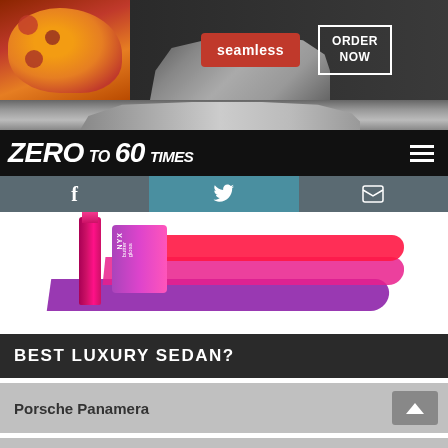[Figure (screenshot): Top advertisement banner for Seamless food delivery showing pizza image, Seamless red logo button, and ORDER NOW bordered button on dark background]
[Figure (screenshot): Hyundai car photograph in grayscale/black on dark background]
ZERO TO 60 TIMES
[Figure (infographic): Social media navigation bar with Facebook, Twitter (highlighted in teal), and email envelope icons]
[Figure (photo): NYX Butter Gloss lipstick advertisement showing colorful lipstick tubes with pink, red, and purple color swatches]
BEST LUXURY SEDAN?
Porsche Panamera
Maserati Quattroporte
[Figure (screenshot): Bottom overlapping advertisement for Seamless showing pizza image, Seamless red button, and ORDER NOW bordered button]
Lexu...